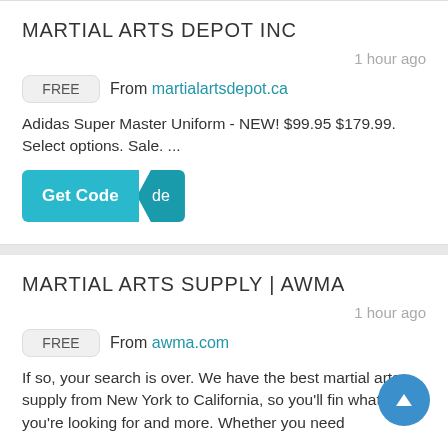MARTIAL ARTS DEPOT INC
1 hour ago
FREE  From martialartsdepot.ca
Adidas Super Master Uniform - NEW! $99.95 $179.99. Select options. Sale. ...
[Figure (other): Get Code button with teal background and darker teal tab overlay]
MARTIAL ARTS SUPPLY | AWMA
1 hour ago
FREE  From awma.com
If so, your search is over. We have the best martial arts supply from New York to California, so you'll fin what you're looking for and more. Whether you need